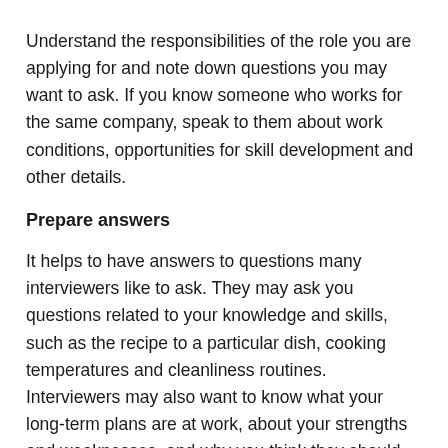Understand the responsibilities of the role you are applying for and note down questions you may want to ask. If you know someone who works for the same company, speak to them about work conditions, opportunities for skill development and other details.
Prepare answers
It helps to have answers to questions many interviewers like to ask. They may ask you questions related to your knowledge and skills, such as the recipe to a particular dish, cooking temperatures and cleanliness routines. Interviewers may also want to know what your long-term plans are at work, about your strengths and weaknesses, and why you think they should hire you.
Other easy questions such as your favourite dishes to prepare or a cuisine you are proficient in, about your